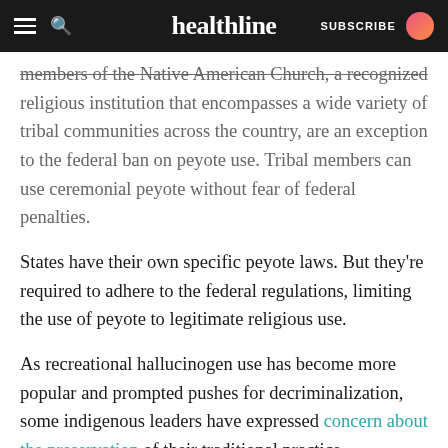healthline | SUBSCRIBE
members of the Native American Church, a recognized religious institution that encompasses a wide variety of tribal communities across the country, are an exception to the federal ban on peyote use. Tribal members can use ceremonial peyote without fear of federal penalties.
States have their own specific peyote laws. But they're required to adhere to the federal regulations, limiting the use of peyote to legitimate religious use.
As recreational hallucinogen use has become more popular and prompted pushes for decriminalization, some indigenous leaders have expressed concern about the preservation of their traditional practice.